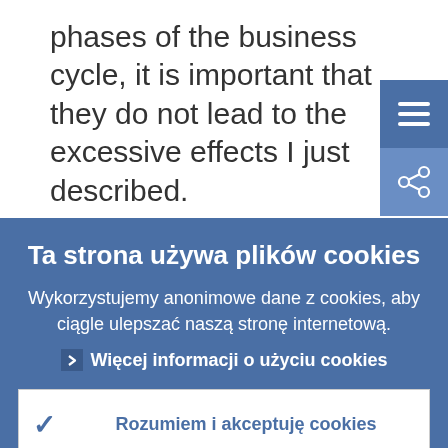phases of the business cycle, it is important that they do not lead to the excessive effects I just described.
The pro-cyclical impact of regulatory capital
Ta strona używa plików cookies
Wykorzystujemy anonimowe dane z cookies, aby ciągle ulepszać naszą stronę internetową.
Więcej informacji o użyciu cookies
Rozumiem i akceptuję cookies
Nie akceptuję cookies